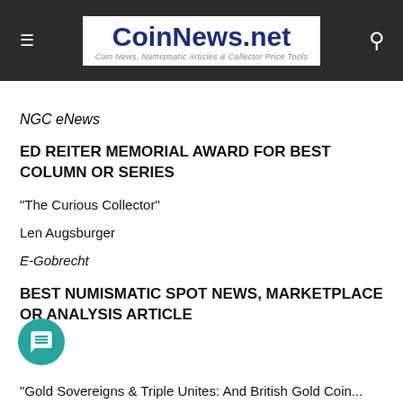CoinNews.net — Coin News, Numismatic Articles & Collector Price Tools
NGC eNews
ED REITER MEMORIAL AWARD FOR BEST COLUMN OR SERIES
"The Curious Collector"
Len Augsburger
E-Gobrecht
BEST NUMISMATIC SPOT NEWS, MARKETPLACE OR ANALYSIS ARTICLE
"Gold Sovereigns & Triple Unites: And British Gold Coin...